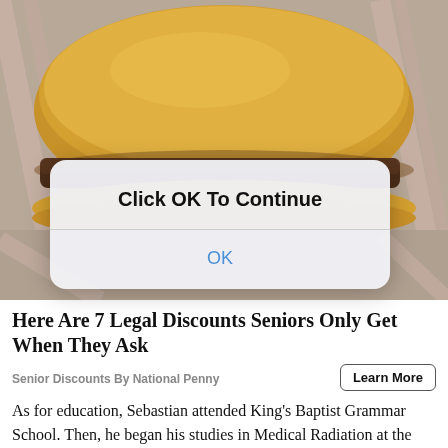[Figure (photo): Close-up photo of a cheeseburger on a bun with a beef patty, wrapped in paper, against a gray background. A semi-transparent modal dialog overlays the lower portion of the photo with the text 'Click OK To Continue' and an 'OK' button in blue.]
Here Are 7 Legal Discounts Seniors Only Get When They Ask
Senior Discounts By National Penny
As for education, Sebastian attended King's Baptist Grammar School. Then, he began his studies in Medical Radiation at the University of South Australia but left to pursue a career in